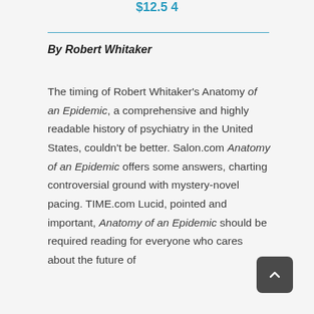$12.5 4
By Robert Whitaker
The timing of Robert Whitaker's Anatomy of an Epidemic, a comprehensive and highly readable history of psychiatry in the United States, couldn't be better. Salon.com Anatomy of an Epidemic offers some answers, charting controversial ground with mystery-novel pacing. TIME.com Lucid, pointed and important, Anatomy of an Epidemic should be required reading for everyone who cares about the future of